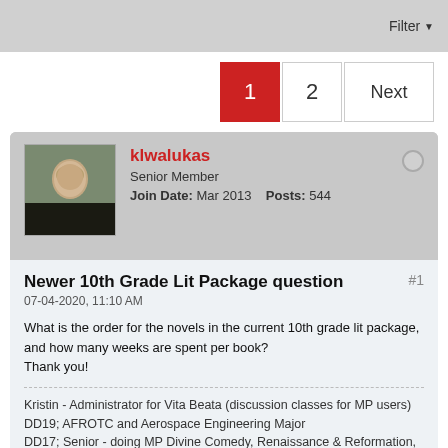Filter
1  2  Next
klwalukas
Senior Member
Join Date: Mar 2013   Posts: 544
Newer 10th Grade Lit Package question
07-04-2020, 11:10 AM
What is the order for the novels in the current 10th grade lit package, and how many weeks are spent per book?
Thank you!
Kristin - Administrator for Vita Beata (discussion classes for MP users)
DD19; AFROTC and Aerospace Engineering Major
DD17; Senior - doing MP Divine Comedy, Renaissance & Reformation, Cicero & Augustine, and moderating 4th Grade Literature for Vita Beata.
Tags: None